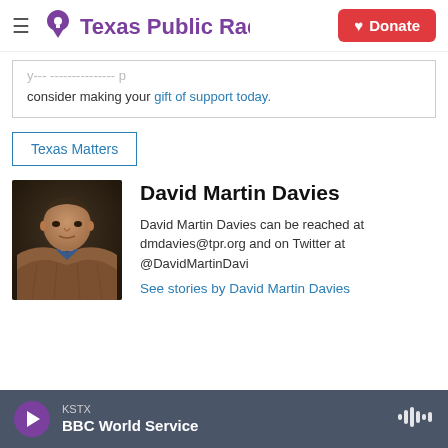Texas Public Radio | Donate
consider making your gift of support today.
Texas Matters
[Figure (photo): Headshot of David Martin Davies, a man in a brown plaid blazer and blue shirt, photographed against a dark background.]
David Martin Davies
David Martin Davies can be reached at dmdavies@tpr.org and on Twitter at @DavidMartinDavi
See stories by David Martin Davies
KSTX BBC World Service